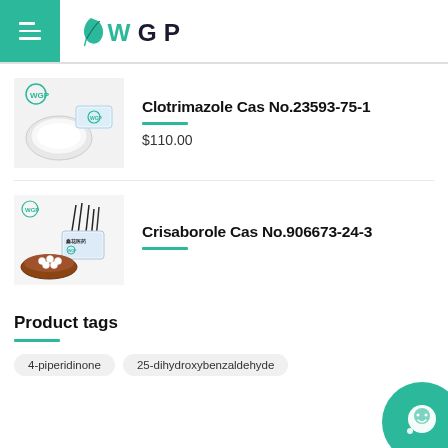WGP (logo/header navigation)
[Figure (photo): Product photo of Clotrimazole powder in dish with packaging, WGP brand logo visible]
Clotrimazole Cas No.23593-75-1
$110.00
[Figure (photo): Product photo of Crisaborole with reed diffuser sticks and white beads in wooden bowl, WGP brand label visible]
Crisaborole Cas No.906673-24-3
Product tags
4-piperidinone
25-dihydroxybenzaldehyde